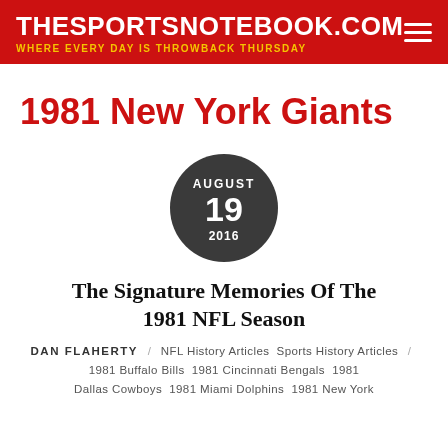THESPORTSNOTEBOOK.COM — WHERE EVERY DAY IS THROWBACK THURSDAY
1981 New York Giants
[Figure (other): Dark circular date badge showing AUGUST 19 2016]
The Signature Memories Of The 1981 NFL Season
DAN FLAHERTY / NFL History Articles  Sports History Articles / 1981 Buffalo Bills  1981 Cincinnati Bengals  1981 Dallas Cowboys  1981 Miami Dolphins  1981 New York